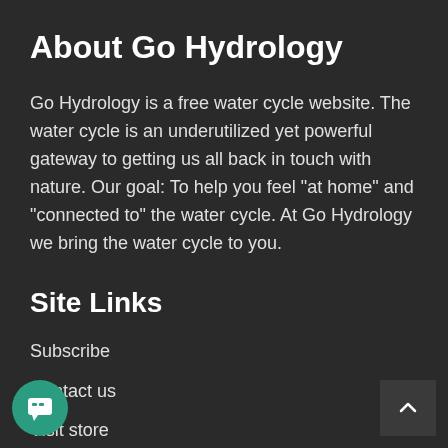About Go Hydrology
Go Hydrology is a free water cycle website. The water cycle is an underutilized yet powerful gateway to getting us all back in touch with nature. Our goal: To help you feel "at home" and "connected to" the water cycle. At Go Hydrology we bring the water cycle to you.
Site Links
Subscribe
Contact us
Visit store
Donate